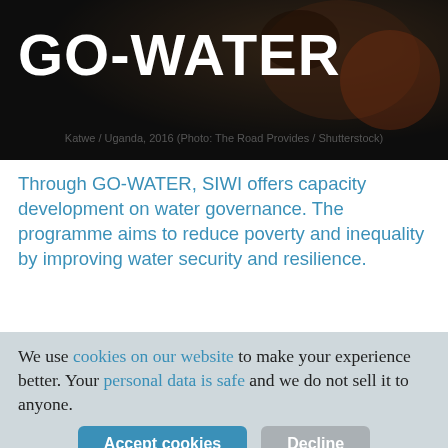[Figure (photo): Dark background hero image with GO-WATER title overlaid in white bold text. Scene appears to be a dark, muddy or industrial setting in Uganda.]
Katwe / Uganda, 2016 (Photo: The Road Provides / Shutterstock)
Through GO-WATER, SIWI offers capacity development on water governance. The programme aims to reduce poverty and inequality by improving water security and resilience.
The GO-WATER Programme, or Building Governance Capacity for Improved Water Security,
We use cookies on our website to make your experience better. Your personal data is safe and we do not sell it to anyone.